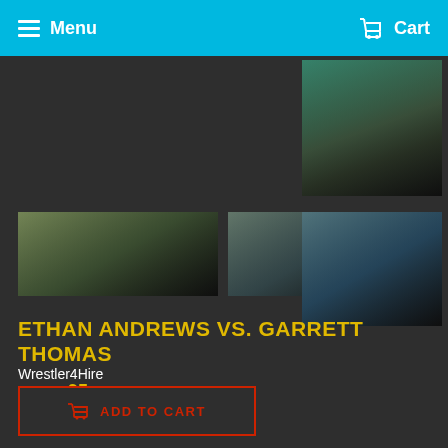Menu  Cart
[Figure (photo): Wrestling match thumbnail image top right - two wrestlers on mat]
[Figure (photo): Wrestling match thumbnail 1 - wrestler pinning opponent on mat]
[Figure (photo): Wrestling match thumbnail 2 - two wrestlers on mat]
[Figure (photo): Wrestling match thumbnail 3 - wrestler in teal shorts with opponent]
ETHAN ANDREWS VS. GARRETT THOMAS
Wrestler4Hire
$29.95
Shipping calculated at checkout.
ADD TO CART